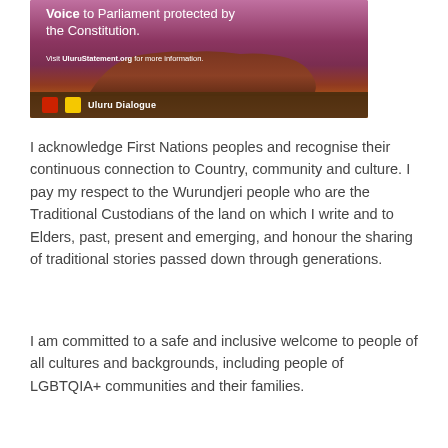[Figure (photo): Uluru Dialogue promotional image showing Uluru rock at sunset with text about Voice to Parliament and UluruStatement.org, with Uluru Dialogue logo bar at bottom]
I acknowledge First Nations peoples and recognise their continuous connection to Country, community and culture. I pay my respect to the Wurundjeri people who are the Traditional Custodians of the land on which I write and to Elders, past, present and emerging, and honour the sharing of traditional stories passed down through generations.
I am committed to a safe and inclusive welcome to people of all cultures and backgrounds, including people of LGBTQIA+ communities and their families.